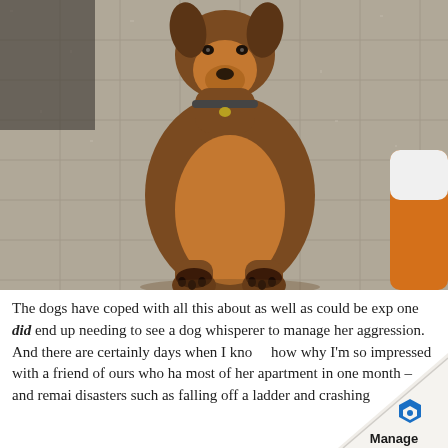[Figure (photo): A brown Doberman dog sitting on a tiled stone floor, facing the camera. Partial view of another dog (orange/white fur) on the right edge.]
The dogs have coped with all this about as well as could be exp one did end up needing to see a dog whisperer to manage her aggression. And there are certainly days when I kno how why I'm so impressed with a friend of ours who ha most of her apartment in one month – and remai disasters such as falling off a ladder and crashing